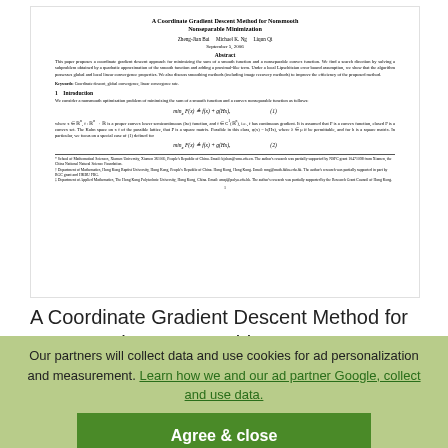[Figure (screenshot): Screenshot of a scanned academic paper titled 'A Coordinate Gradient Descent Method for Nonsmooth Nonseparable Minimization' showing title, authors, abstract, introduction section and formulas]
A Coordinate Gradient Descent Method for Nonsmooth Nonseparable ...
Read more
Our partners will collect data and use cookies for ad personalization and measurement. Learn how we and our ad partner Google, collect and use data.
Agree & close